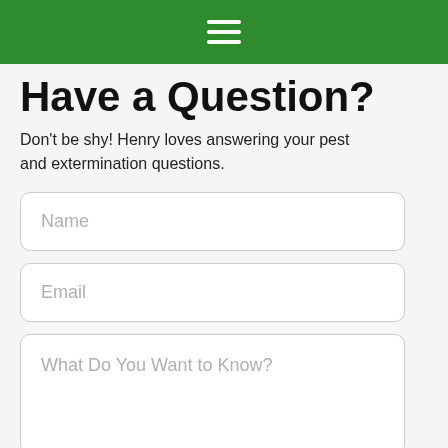[hamburger menu icon]
Have a Question?
Don't be shy! Henry loves answering your pest and extermination questions.
Name
Email
What Do You Want to Know?